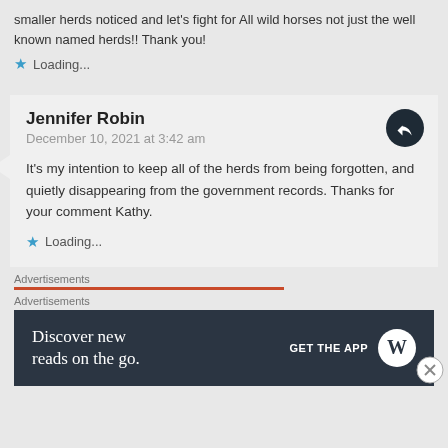smaller herds noticed and let's fight for All wild horses not just the well known named herds!! Thank you!
Loading...
Jennifer Robin
December 10, 2021 at 3:42 am
It's my intention to keep all of the herds from being forgotten, and quietly disappearing from the government records. Thanks for your comment Kathy.
Loading...
Advertisements
Advertisements
[Figure (infographic): WordPress advertisement banner: 'Discover new reads on the go.' with GET THE APP button and WordPress logo]